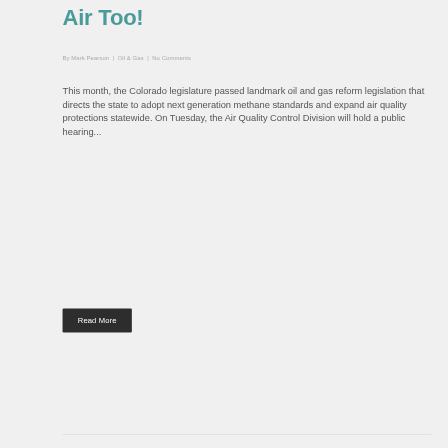Air Too!
By Mark Pearson | Oil & Gas | No Comments
This month, the Colorado legislature passed landmark oil and gas reform legislation that directs the state to adopt next generation methane standards and expand air quality protections statewide. On Tuesday, the Air Quality Control Division will hold a public hearing...
Read More